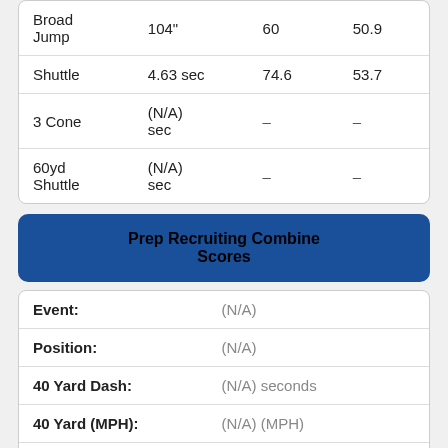|  |  |  |  |
| --- | --- | --- | --- |
| Broad Jump | 104" | 60 | 50.9 |
| Shuttle | 4.63 sec | 74.6 | 53.7 |
| 3 Cone | (N/A) sec | – | – |
| 60yd Shuttle | (N/A) sec | – | – |
Prep Recruiting Combine Scores
| Field | Value |
| --- | --- |
| Event: | (N/A) |
| Position: | (N/A) |
| 40 Yard Dash: | (N/A) seconds |
| 40 Yard (MPH): | (N/A) (MPH) |
| 20 Yd Shuttle: | (N/A) seconds |
| Height: | (N/A) inches |